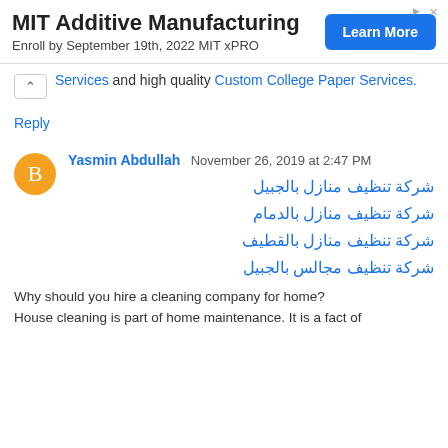[Figure (other): MIT Additive Manufacturing advertisement banner with 'Learn More' button and text 'Enroll by September 19th, 2022 MIT xPRO']
Services and high quality Custom College Paper Services.
Reply
Yasmin Abdullah  November 26, 2019 at 2:47 PM
شركة تنظيف منازل بالجبيل
شركة تنظيف منازل بالدمام
شركة تنظيف منازل بالقطيف
شركة تنظيف مجالس بالجبيل
Why should you hire a cleaning company for home? House cleaning is part of home maintenance. It is a fact of